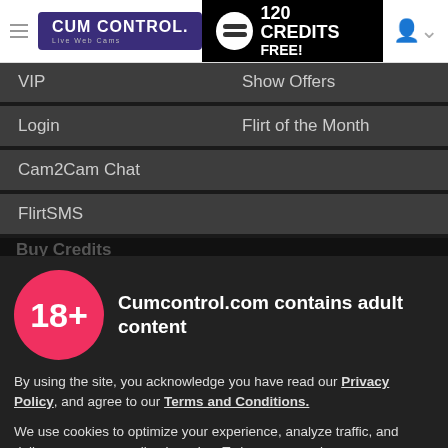CUM CONTROL Live Web Cams — 120 CREDITS FREE!
VIP
Show Offers
Login
Flirt of the Month
Cam2Cam Chat
FlirtSMS
[Figure (infographic): 18+ age badge — pink circle with white 18+ text]
Cumcontrol.com contains adult content
By using the site, you acknowledge you have read our Privacy Policy, and agree to our Terms and Conditions.
We use cookies to optimize your experience, analyze traffic, and deliver more personalized service. To learn more, please see our Privacy Policy.
I AGREE